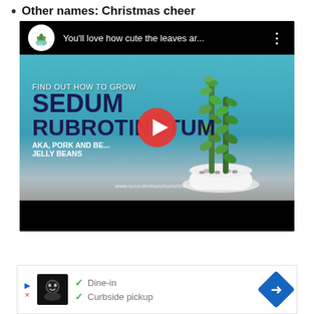Other names: Christmas cheer
[Figure (screenshot): YouTube video thumbnail showing a succulent plant (Sedum Rubrotinctum / Pork and Beans / Jelly Beans) with text overlay and a red YouTube play button. Title bar reads: 'You'll love how cute the leaves ar...' with a cactus logo. Website watermark: www.succulentsandsunshine.com]
[Figure (screenshot): Advertisement strip at the bottom showing a restaurant with check marks for 'Dine-in' and 'Curbside pickup', a navigation arrow icon on the right, and an ad indicator on the left.]